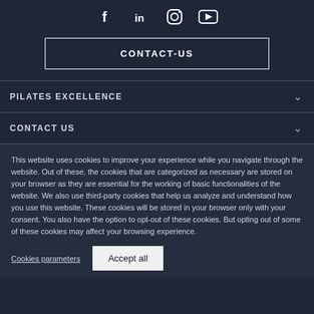[Figure (other): Social media icons: Facebook (f), LinkedIn (in), Instagram (camera), YouTube (play button)]
CONTACT-US
PILATES EXCELLENCE
CONTACT US
This website uses cookies to improve your experience while you navigate through the website. Out of these, the cookies that are categorized as necessary are stored on your browser as they are essential for the working of basic functionalities of the website. We also use third-party cookies that help us analyze and understand how you use this website. These cookies will be stored in your browser only with your consent. You also have the option to opt-out of these cookies. But opting out of some of these cookies may affect your browsing experience.
Cookies parameters
Accept all